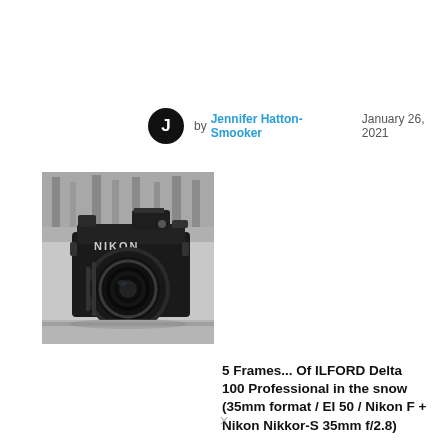by Jennifer Hatton-Smooker   January 26, 2021
[Figure (photo): Black and white photograph of a Nikon film camera with a 35mm lens on a surface]
5 Frames... Of ILFORD Delta 100 Professional in the snow (35mm format / EI 50 / Nikon F + Nikon Nikkor-S 35mm f/2.8)
A frame or two might be from the snow f...
×